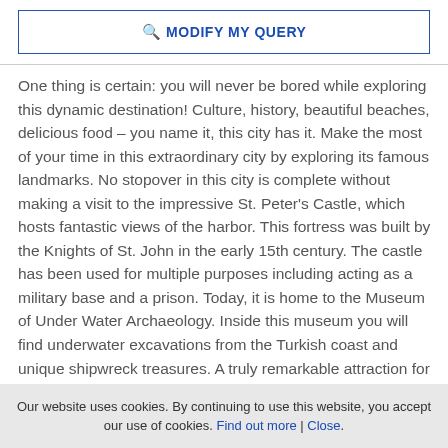MODIFY MY QUERY
One thing is certain: you will never be bored while exploring this dynamic destination! Culture, history, beautiful beaches, delicious food – you name it, this city has it. Make the most of your time in this extraordinary city by exploring its famous landmarks. No stopover in this city is complete without making a visit to the impressive St. Peter's Castle, which hosts fantastic views of the harbor. This fortress was built by the Knights of St. John in the early 15th century. The castle has been used for multiple purposes including acting as a military base and a prison. Today, it is home to the Museum of Under Water Archaeology. Inside this museum you will find underwater excavations from the Turkish coast and unique shipwreck treasures. A truly remarkable attraction for sailors! When planning your yacht charter in Bodrum, note that on Monday's this museum is closed to the public. If you are in the city on a Tuesday or Friday, make sure to stop at the local market next to the Intercity Bus Terminal. On Tuesday's you will find a textile market, offering colorful pieces of cloth. On Fridays, buy some
Our website uses cookies. By continuing to use this website, you accept our use of cookies. Find out more | Close.